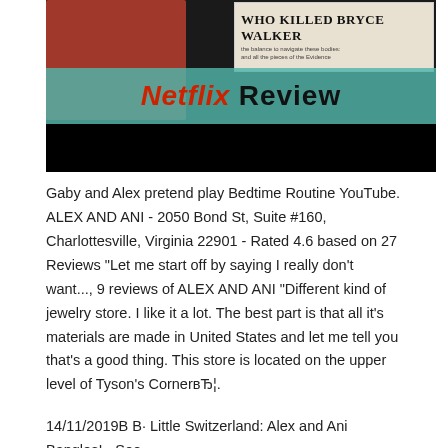[Figure (screenshot): Screenshot of a Netflix Review thumbnail with a person in red, a newspaper clipping reading 'WHO KILLED BRYCE WALKER', a teal banner with 'Netflix Review' text, and a black strip at bottom.]
Gaby and Alex pretend play Bedtime Routine YouTube. ALEX AND ANI - 2050 Bond St, Suite #160, Charlottesville, Virginia 22901 - Rated 4.6 based on 27 Reviews "Let me start off by saying I really don't want..., 9 reviews of ALEX AND ANI "Different kind of jewelry store. I like it a lot. The best part is that all it's materials are made in United States and let me tell you that's a good thing. This store is located on the upper level of Tyson's CornerвЂ¦.
14/11/2019В В· Little Switzerland: Alex and Ani Bangles! - See